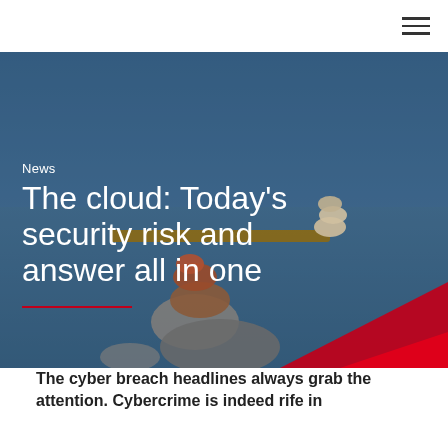☰
[Figure (photo): Balanced stacked zen stones on a wooden plank against a blue sky and sea background, with a red geometric chevron shape overlay at bottom right]
News
The cloud: Today's security risk and answer all in one
The cyber breach headlines always grab the attention. Cybercrime is indeed rife in